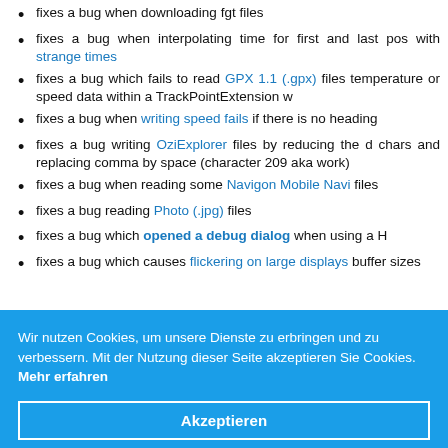fixes a bug when downloading fgt files
fixes a bug when interpolating time for first and last pos with strange times
fixes a bug which fails to read GPX 1.1 (.gpx) files temperature or speed data within a TrackPointExtension w
fixes a bug when writing speed fails if there is no heading
fixes a bug writing OziExplorer files by reducing the d chars and replacing comma by space (character 209 ak work)
fixes a bug when reading some Navigon Mobile Navi files
fixes a bug reading Photo (.jpg) files
fixes a bug which opened a debug dialog when using a H
fixes a bug which causes flickering on large displays buffer sizes
Wir nutzen Cookies, um unsere Dienste zu erbringen und zu verbessern. Mit der Nutzung dieser Seite akzeptieren Sie Cookies. Mehr erfahren
Akzeptieren